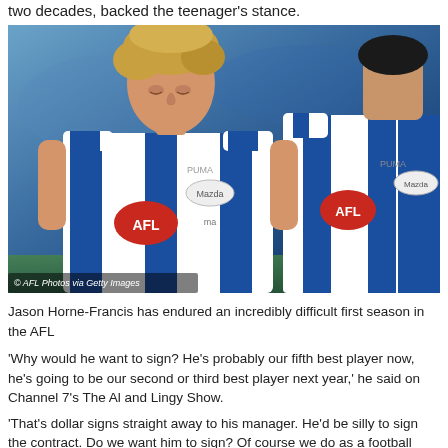two decades, backed the teenager's stance.
[Figure (photo): Two AFL players in North Melbourne blue and white striped jerseys. The left player, Jason Horne-Francis, a young man with wavy blonde hair, is looking down with a dejected expression. The right player is partially visible from behind. AFL and Mazda sponsor logos visible on jerseys.]
Jason Horne-Francis has endured an incredibly difficult first season in the AFL
'Why would he want to sign? He's probably our fifth best player now, he's going to be our second or third best player next year,' he said on Channel 7's The Al and Lingy Show.
'That's dollar signs straight away to his manager. He'd be silly to sign the contract. Do we want him to sign? Of course we do as a football club, but his manager would be a silly bugger to make him sign right now.'